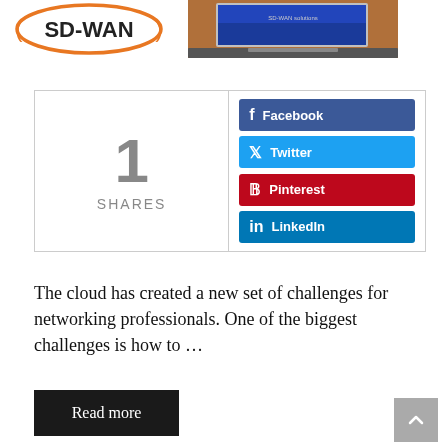[Figure (logo): SD-WAN circular logo in orange]
[Figure (photo): Laptop computer with blue screen, viewed from above at an angle]
[Figure (infographic): Social share widget showing 1 SHARES on the left, and Facebook, Twitter, Pinterest, LinkedIn buttons on the right]
The cloud has created a new set of challenges for networking professionals. One of the biggest challenges is how to …
Read more